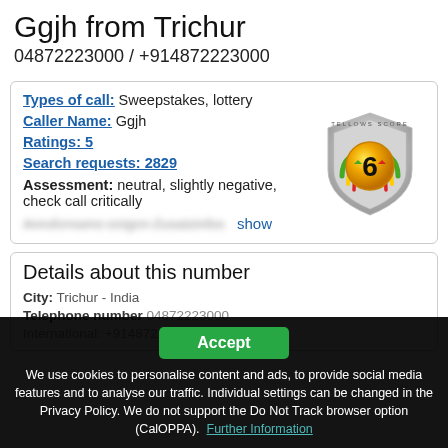Ggjh from Trichur
04872223000 / +914872223000
Types of call: Sweepstakes, lottery
Caller Name: Ggjh
Ratings: 5
Search requests: 2829
Assessment: neutral, slightly negative, check call critically
[Figure (other): Tellows Score badge showing score of 6 with shield design, yellow-orange gradient]
Details about this number
City: Trichur - India
Telephone number: 04872223000
Cookie consent overlay: We use cookies to personalise content and ads, to provide social media features and to analyse our traffic. Individual settings can be changed in the Privacy Policy. We do not support the Do Not Track browser option (CalOPPA). Further Information